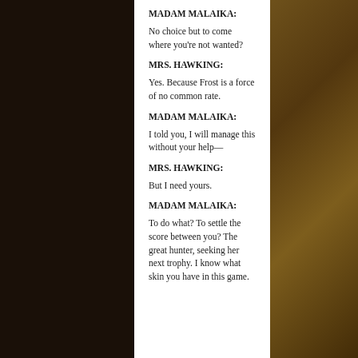MADAM MALAIKA:
No choice but to come where you’re not wanted?
MRS. HAWKING:
Yes. Because Frost is a force of no common rate.
MADAM MALAIKA:
I told you, I will manage this without your help—
MRS. HAWKING:
But I need yours.
MADAM MALAIKA:
To do what? To settle the score between you? The great hunter, seeking her next trophy. I know what skin you have in this game.